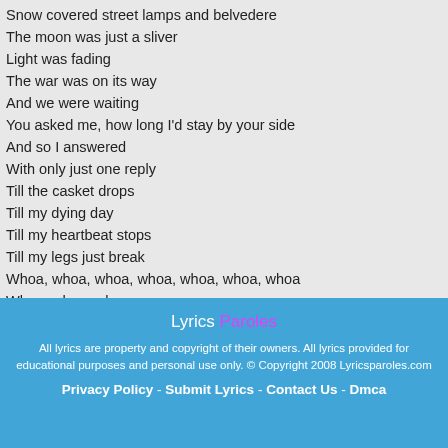Snow covered street lamps and belvedere
The moon was just a sliver
Light was fading
The war was on its way
And we were waiting
You asked me, how long I'd stay by your side
And so I answered
With only just one reply
Till the casket drops
Till my dying day
Till my heartbeat stops
Till my legs just break
Whoa, whoa, whoa, whoa, whoa, whoa, whoa
Whoa, whoa, whoa,
Till the casket drops
A house made out of glass, will surely shatter
So we built a fortress, of red bricks and ladders
The ground it started shaking
Lyrics Paroles

All lyrics are property and copyright of their owners. All lyrics provided for educational purposes and personal use only. © Copyright 2008 Lyricsparoles.com

Privacy Policy - Submit Lyrics - Contact Us - Dmca